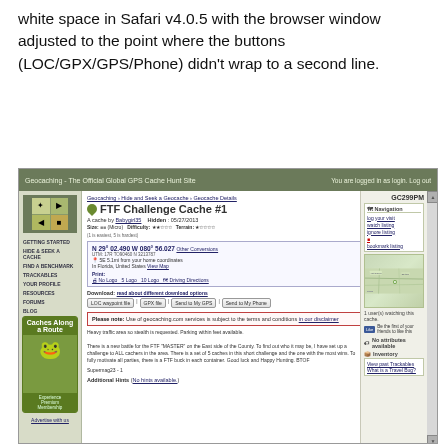white space in Safari v4.0.5 with the browser window adjusted to the point where the buttons (LOC/GPX/GPS/Phone) didn't wrap to a second line.
[Figure (screenshot): Screenshot of geocaching.com page for 'FTF Challenge Cache #1' (GC299PM), showing cache details, coordinates N 29° 02.490 W 080° 56.027, size/difficulty/terrain ratings, download buttons (LOC waypoint file, GPX file, Send to My GPS, Send to My Phone), a notice box about terms and conditions, cache description text, and right sidebar with navigation, map, attributes and inventory sections.]